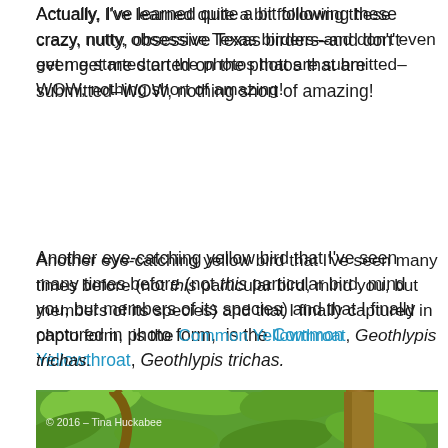Actually, I've learned quite a bit following these crazy, nutty, obsessive Texas birders–and don't even get me started on the photos that are submitted–WOW, nothing short of amazing!
Another eye-catching yellow bird that I've seen many times before (not this particular bird, mind you, but members of its species) and that I finally captured in photo form, is the Common Yellowthroat, Geothlypis trichas.
[Figure (photo): Close-up photo of green leaves and branches, with a brown tree trunk visible. Photo credit watermark reads: © 2016 - Tina Huckabee]